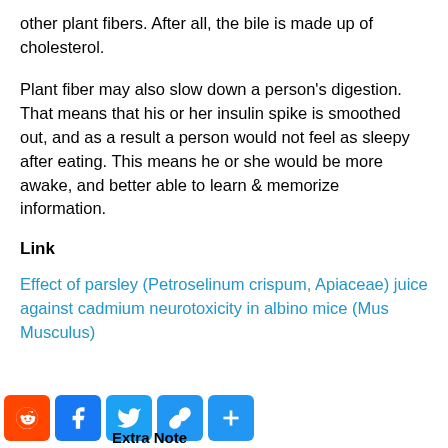other plant fibers. After all, the bile is made up of cholesterol.
Plant fiber may also slow down a person's digestion. That means that his or her insulin spike is smoothed out, and as a result a person would not feel as sleepy after eating. This means he or she would be more awake, and better able to learn & memorize information.
Link
Effect of parsley (Petroselinum crispum, Apiaceae) juice against cadmium neurotoxicity in albino mice (Mus Musculus)
Extra Note